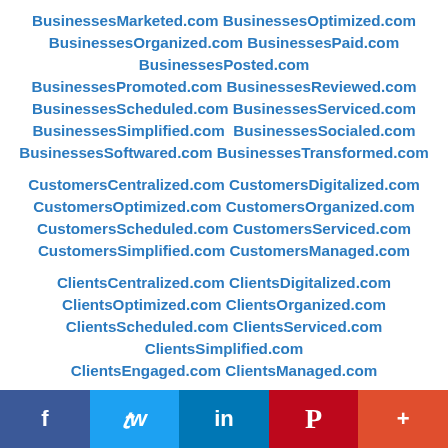BusinessesMarketed.com BusinessesOptimized.com BusinessesOrganized.com BusinessesPaid.com BusinessesPosted.com BusinessesPromoted.com BusinessesReviewed.com BusinessesScheduled.com BusinessesServiced.com BusinessesSimplified.com BusinessesSocialed.com BusinessesSoftwared.com BusinessesTransformed.com
CustomersCentralized.com CustomersDigitalized.com CustomersOptimized.com CustomersOrganized.com CustomersScheduled.com CustomersServiced.com CustomersSimplified.com CustomersManaged.com
ClientsCentralized.com ClientsDigitalized.com ClientsOptimized.com ClientsOrganized.com ClientsScheduled.com ClientsServiced.com ClientsSimplified.com ClientsEngaged.com ClientsManaged.com
f  🐦  in  P  +